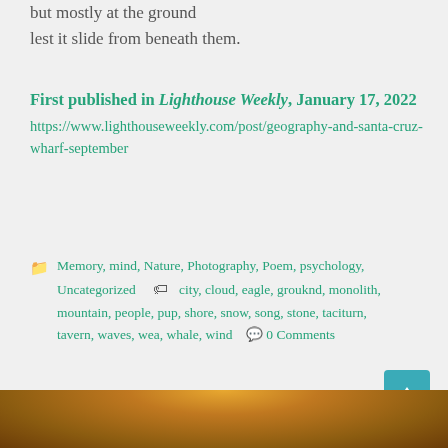but mostly at the ground
lest it slide from beneath them.
First published in Lighthouse Weekly, January 17, 2022
https://www.lighthouseweekly.com/post/geography-and-santa-cruz-wharf-september
Memory, mind, Nature, Photography, Poem, psychology, Uncategorized   city, cloud, eagle, grouknd, monolith, mountain, people, pup, shore, snow, song, stone, taciturn, tavern, waves, wea, whale, wind   0 Comments
[Figure (photo): Bottom strip showing top of a person's head with brown/golden hair, partial view.]